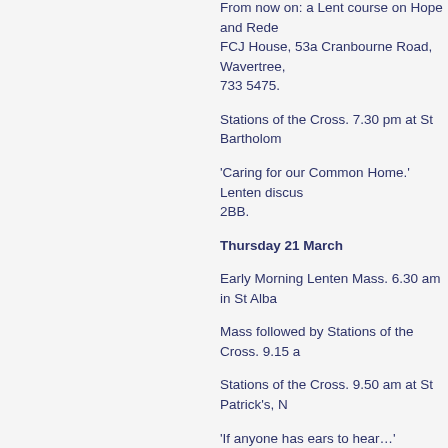From now on: a Lent course on Hope and Rede... FCJ House, 53a Cranbourne Road, Wavertree, 733 5475.
Stations of the Cross.  7.30 pm at St Bartholom...
'Caring for our Common Home.'  Lenten discus... 2BB.
Thursday 21 March
Early Morning Lenten Mass.  6.30 am in St Alba...
Mass followed by Stations of the Cross.  9.15 a...
Stations of the Cross.  9.50 am at St Patrick's, N...
'If anyone has ears to hear…'  Reflections on th... Irenaeus, 32 Great Georges Road, Waterloo, L2... jenny@irenaeus.co.uk  Website: www.irenaeus...
Exposition of the Blessed Sacrament.  2.00 pm...
Stations of the Cross.  6.30 pm at St Marie's, Al...
Stations of the Cross led by parish groups.  7:0...
Stations of the Cross.  7.00 ...